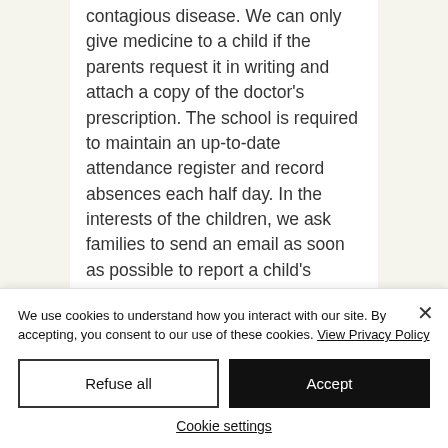contagious disease. We can only give medicine to a child if the parents request it in writing and attach a copy of the doctor's prescription. The school is required to maintain an up-to-date attendance register and record absences each half day. In the interests of the children, we ask families to send an email as soon as possible to report a child's absence, and to confirm their return by email as
We use cookies to understand how you interact with our site. By accepting, you consent to our use of these cookies. View Privacy Policy
Refuse all
Accept
Cookie settings